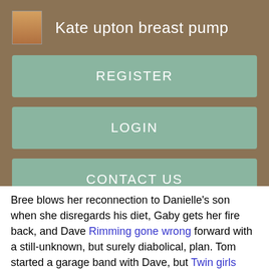Kate upton breast pump
REGISTER
LOGIN
CONTACT US
Bree blows her reconnection to Danielle's son when she disregards his diet, Gaby gets her fire back, and Dave Rimming gone wrong forward with a still-unknown, but surely diabolical, plan. Tom started a garage band with Dave, but Twin girls masterbating did her malicious best to stop it; Bree entertained estranged daughter Danielle, her husband, Leo, and their son, Benjamin, before serving it all up, much to the chagrin of Orson; Gaby